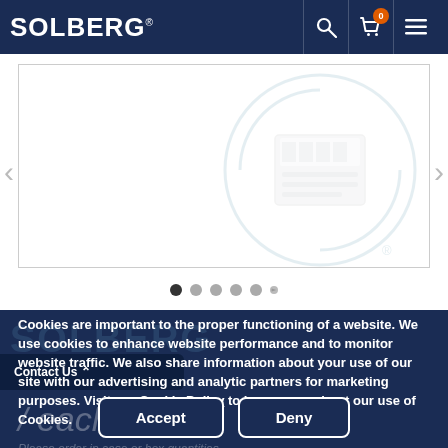SOLBERG® [search icon] [cart icon: 0] [menu icon]
[Figure (screenshot): Product image carousel area with Solberg watermark logo, navigation arrows, and carousel dots]
Cookies are important to the proper functioning of a website. We use cookies to enhance website performance and to monitor website traffic. We also share information about your use of our site with our advertising and analytic partners for marketing purposes. Visit our Cookie Policy to learn more about our use of Cookies.
/ each
Please order in case or box quantities.
A $100.00 net minimum order is required. Thank you.
Accept
Deny